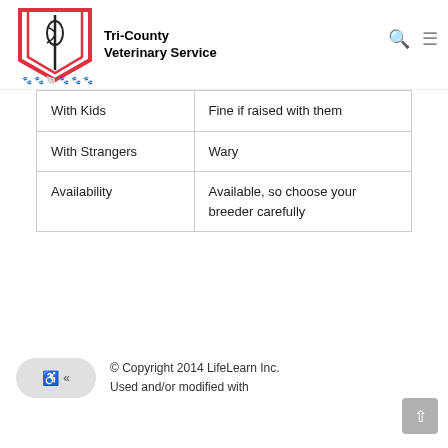Tri-County Veterinary Service
| With Kids | Fine if raised with them |
| With Strangers | Wary |
| Availability | Available, so choose your breeder carefully |
© Copyright 2014 LifeLearn Inc. Used and/or modified with